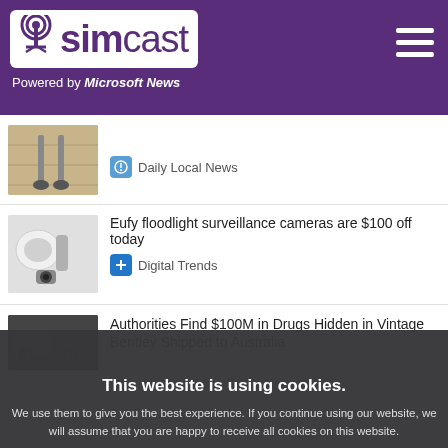simcast — Powered by Microsoft News
[Figure (screenshot): Thumbnail of carpet/vacuum cleaner area]
Daily Local News
[Figure (screenshot): Thumbnail of Eufy floodlight surveillance camera]
Eufy floodlight surveillance cameras are $100 off today
Digital Trends
[Figure (screenshot): Thumbnail of drugs/cars seized]
Authorities Find $100M in Drugs Hidden in Vintage Bentley Shipped to Australia
This website is using cookies. We use them to give you the best experience. If you continue using our website, we will assume that you are happy to receive all cookies on this website.
[Figure (screenshot): Thumbnail of robot vacuum cleaner]
We can't believe how cheap this robot vacuum is today
Digital Trends